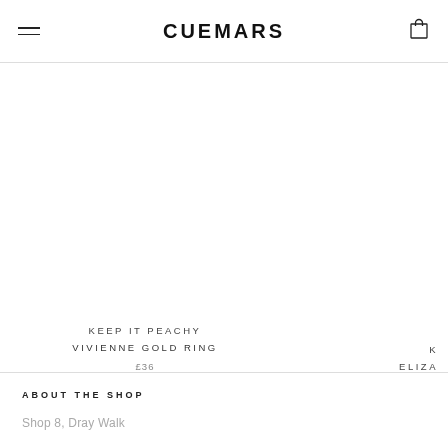CUEMARS
KEEP IT PEACHY
VIVIENNE GOLD RING
£36
K...
ELIZA
ABOUT THE SHOP
Shop 8, Dray Walk
E1 6QL | London, UK